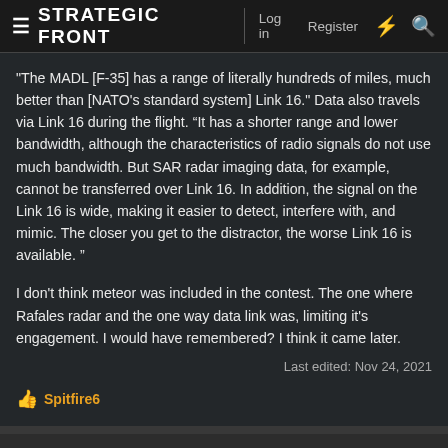STRATEGIC FRONT  Log in  Register
"The MADL [F-35] has a range of literally hundreds of miles, much better than [NATO's standard system] Link 16." Data also travels via Link 16 during the flight. “It has a shorter range and lower bandwidth, although the characteristics of radio signals do not use much bandwidth. But SAR radar imaging data, for example, cannot be transferred over Link 16. In addition, the signal on the Link 16 is wide, making it easier to detect, interfere with, and mimic. The closer you get to the distractor, the worse Link 16 is available. ”
I don't think meteor was included in the contest. The one where Rafales radar and the one way data link was, limiting it's engagement. I would have remembered? I think it came later.
Last edited: Nov 24, 2021
👍 Spitfire6
AbRaj
Senior member